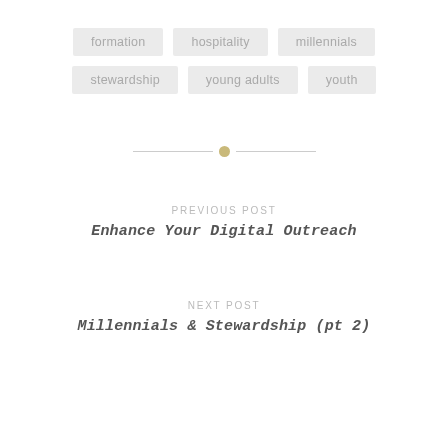formation
hospitality
millennials
stewardship
young adults
youth
[Figure (other): Decorative horizontal divider with a gold dot in the center flanked by thin gray lines]
PREVIOUS POST
Enhance Your Digital Outreach
NEXT POST
Millennials & Stewardship (pt 2)